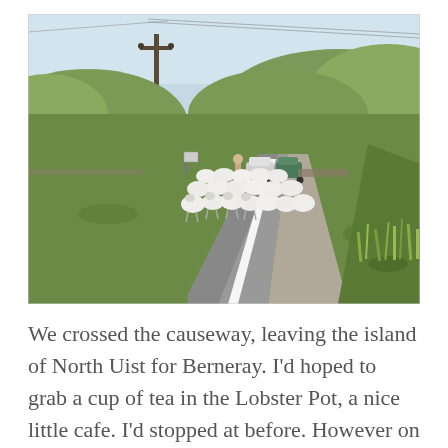[Figure (photo): A flock of white sheep crossing a rural road in a green hilly landscape. A person is herding the sheep, and two cars are stopped behind them. A telegraph pole is visible on the left, and the sky is pale blue. The terrain is grassy moorland.]
We crossed the causeway, leaving the island of North Uist for Berneray. I'd hoped to grab a cup of tea in the Lobster Pot, a nice little cafe. I'd stopped at before. However on arrival, it was closed and in